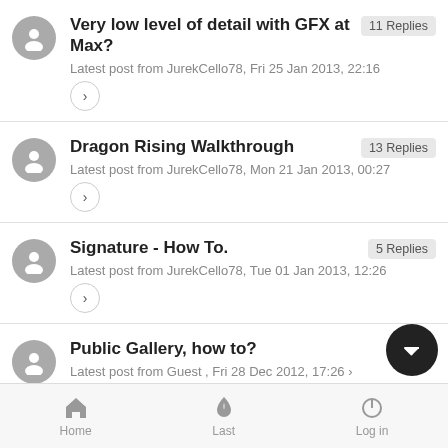Very low level of detail with GFX at Max? | 11 Replies | Latest post from JurekCello78, Fri 25 Jan 2013, 22:16
Dragon Rising Walkthrough | 13 Replies | Latest post from JurekCello78, Mon 21 Jan 2013, 00:27
Signature - How To. | 5 Replies | Latest post from JurekCello78, Tue 01 Jan 2013, 12:26
Public Gallery, how to? | 1 R... | Latest post from Guest , Fri 28 Dec 2012, 17:26
Home | Last | Log in